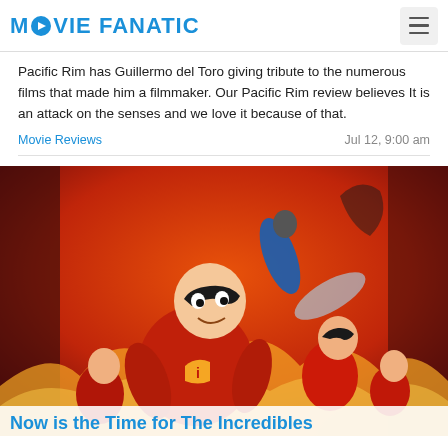MOVIE FANATIC
Pacific Rim has Guillermo del Toro giving tribute to the numerous films that made him a filmmaker. Our Pacific Rim review believes It is an attack on the senses and we love it because of that.
Movie Reviews   Jul 12, 9:00 am
[Figure (photo): Movie poster for The Incredibles, showing animated superhero family characters in red suits against a fiery orange background]
Now is the Time for The Incredibles